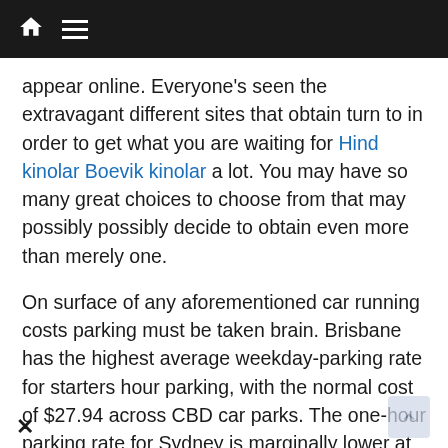Navigation bar with home, menu, search, and shuffle icons
appear online. Everyone's seen the extravagant different sites that obtain turn to in order to get what you are waiting for Hind kinolar Boevik kinolar a lot. You may have so many great choices to choose from that may possibly possibly decide to obtain even more than merely one.
On surface of any aforementioned car running costs parking must be taken brain. Brisbane has the highest average weekday-parking rate for starters hour parking, with the normal cost of $27.94 across CBD car parks. The one-hour parking rate for Sydney is marginally lower at $26.71 with Melbourne substantially cheaper at $17.08 for consist of period. The standard weekday sixty ninutes parking cost in the Brisbane CBD is 64%